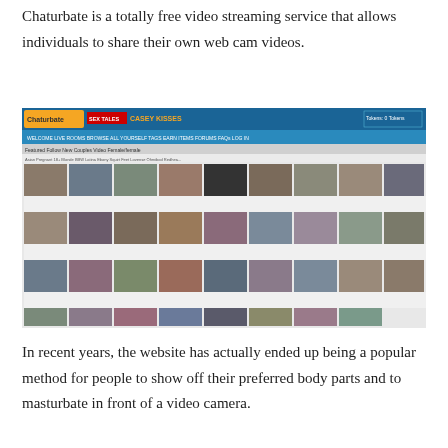Chaturbate is a totally free video streaming service that allows individuals to share their own web cam videos.
[Figure (screenshot): Screenshot of the Chaturbate website showing a grid of webcam video thumbnails with user names and viewer counts. The page header shows the Chaturbate logo, navigation menu, and a sign-up button.]
In recent years, the website has actually ended up being a popular method for people to show off their preferred body parts and to masturbate in front of a video camera.